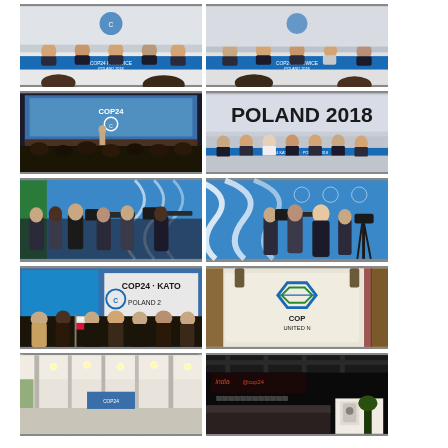[Figure (photo): Panel of officials seated at a conference table with COP24 Katowice Poland 2018 banner]
[Figure (photo): Panel of officials seated at a conference table with COP24 Katowice Poland 2018 branding]
[Figure (photo): Wide conference hall view with speaker at podium, COP24 branding on screens]
[Figure (photo): Close-up of POLAND 2018 text on banner with officials seated below]
[Figure (photo): Crowd and media photographers in conference room with COP24 blue backdrop]
[Figure (photo): Media cameramen filming at COP24 conference with blue backdrop]
[Figure (photo): COP24 Katowice Poland signage with attendees and Polish flag]
[Figure (photo): Close-up of COP United Nations embroidered bag]
[Figure (photo): Large tent venue interior with white structure and lights]
[Figure (photo): India at COP24 exhibition stand with dark display]